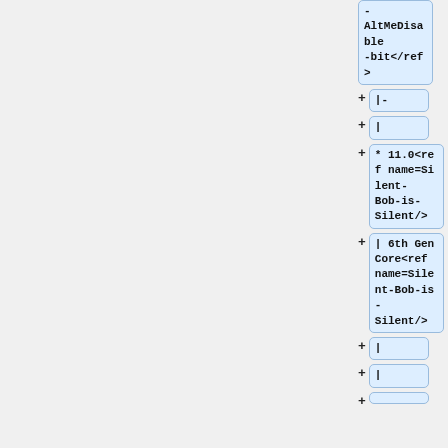[Figure (screenshot): Diff view showing code changes with added lines in blue highlighted boxes. Lines show wiki markup with references including AltMeDisable-bit, Silent-Bob-is-Silent, and 6th Gen Core references.]
- AltMeDisable-bit</ref>
+ |-
+ |
+ * 11.0<ref name=Silent-Bob-is-Silent/>
+ | 6th Gen Core<ref name=Silent-Bob-is-Silent/>
+ |
+ |
+ |